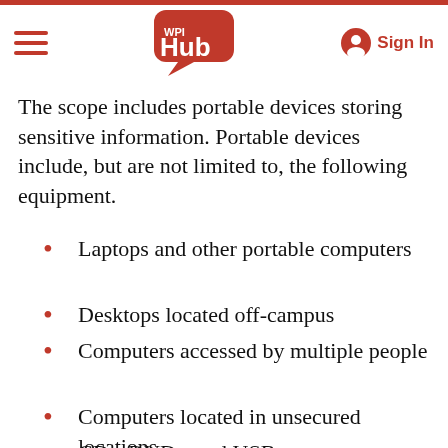WPI Hub — Sign In
The scope includes portable devices storing sensitive information. Portable devices include, but are not limited to, the following equipment.
Laptops and other portable computers
Desktops located off-campus
Computers accessed by multiple people
Computers located in unsecured locations
CDs, DVDs, and USB storage